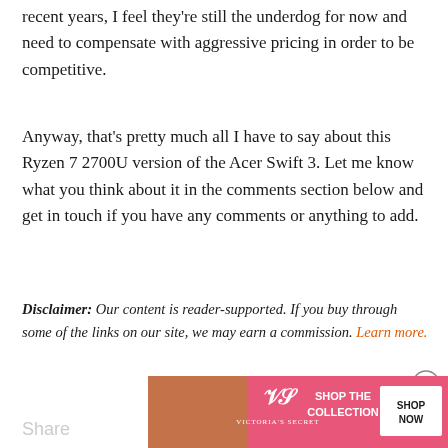recent years, I feel they're still the underdog for now and need to compensate with aggressive pricing in order to be competitive.
Anyway, that's pretty much all I have to say about this Ryzen 7 2700U version of the Acer Swift 3. Let me know what you think about it in the comments section below and get in touch if you have any comments or anything to add.
Disclaimer: Our content is reader-supported. If you buy through some of the links on our site, we may earn a commission. Learn more.
[Figure (photo): Victoria's Secret advertisement banner with a woman and 'Shop the Collection' text with a 'Shop Now' button]